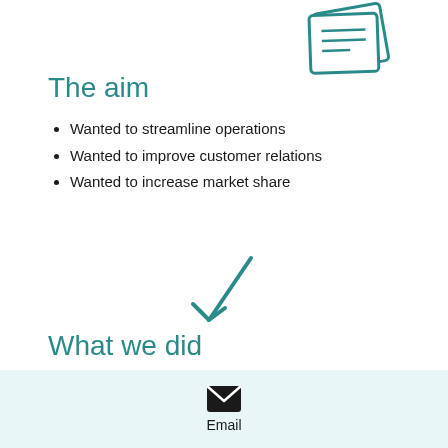[Figure (illustration): Teal/dark teal document pages icon, stacked and tilted, top-right corner]
The aim
Wanted to streamline operations
Wanted to improve customer relations
Wanted to increase market share
[Figure (illustration): Teal arrow pointing down-left (diagonal arrow icon)]
What we did
Reorganised the office layout
Defined responsibilities and processes
Email